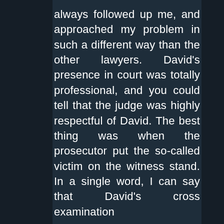always followed up me, and approached my problem in such a different way than the other lawyers. David's presence in court was totally professional, and you could tell that the judge was highly respectful of David. The best thing was when the prosecutor put the so-called victim on the witness stand. In a single word, I can say that David's cross examination